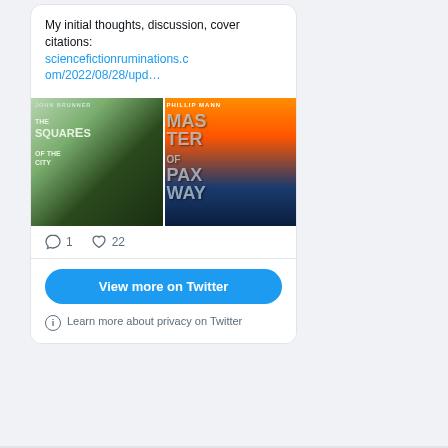My initial thoughts, discussion, cover citations: sciencefictionruminations.com/2022/08/28/upd…
[Figure (photo): Two science fiction book covers side by side: 'The Squares of the City' by John Brunner (left, dark green illustrated cover) and 'Master of Paxway' by Phillip Mann (right, orange and blue illustrated cover)]
1  22
View more on Twitter
Learn more about privacy on Twitter